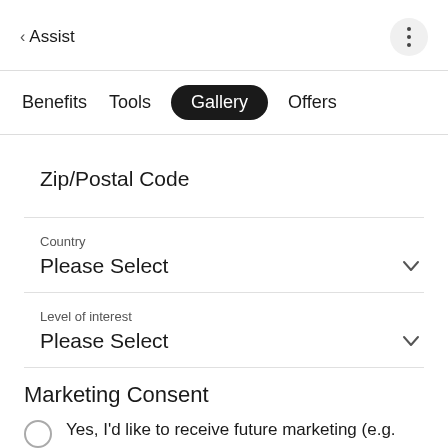< Assist
Benefits   Tools   Gallery   Offers
Zip/Postal Code
Country
Please Select
Level of interest
Please Select
Marketing Consent
Yes, I'd like to receive future marketing (e.g. new product information, promotions) email